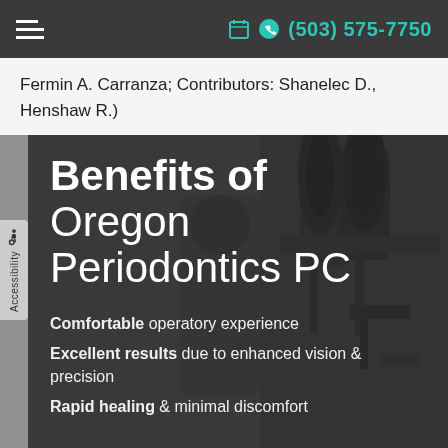≡  (503) 575-7750
Fermin A. Carranza; Contributors: Shanelec D., Henshaw R.)
[Figure (photo): Black and white photo of dental/surgical microscope equipment in the background of a hero banner for Oregon Periodontics PC]
Benefits of Oregon Periodontics PC
Comfortable operatory experience
Excellent results due to enhanced vision & precision
Rapid healing & minimal discomfort